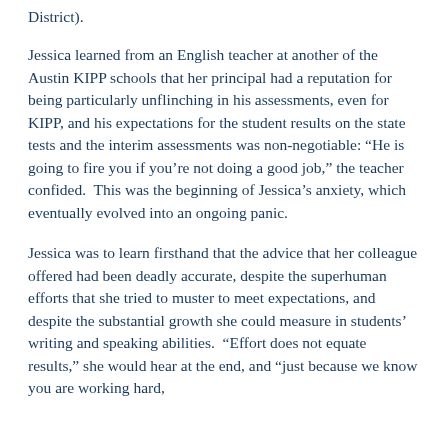District).
Jessica learned from an English teacher at another of the Austin KIPP schools that her principal had a reputation for being particularly unflinching in his assessments, even for KIPP, and his expectations for the student results on the state tests and the interim assessments was non-negotiable: “He is going to fire you if you’re not doing a good job,” the teacher confided.  This was the beginning of Jessica’s anxiety, which eventually evolved into an ongoing panic.
Jessica was to learn firsthand that the advice that her colleague offered had been deadly accurate, despite the superhuman efforts that she tried to muster to meet expectations, and despite the substantial growth she could measure in students’ writing and speaking abilities.  “Effort does not equate results,” she would hear at the end, and “just because we know you are working hard,